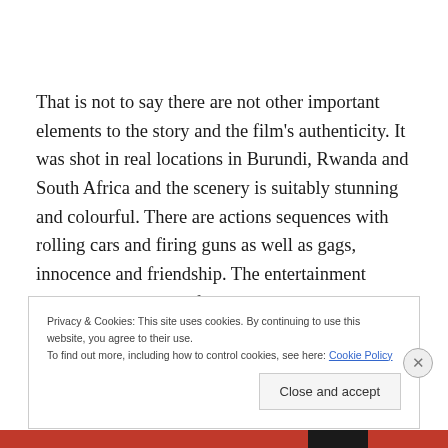That is not to say there are not other important elements to the story and the film's authenticity. It was shot in real locations in Burundi, Rwanda and South Africa and the scenery is suitably stunning and colourful. There are actions sequences with rolling cars and firing guns as well as gags, innocence and friendship. The entertainment covers a broad range from childish humour to grand
Privacy & Cookies: This site uses cookies. By continuing to use this website, you agree to their use.
To find out more, including how to control cookies, see here: Cookie Policy